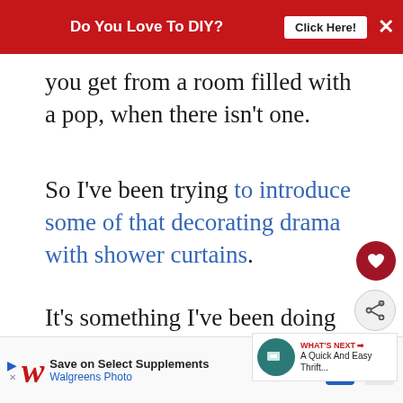Do You Love To DIY? Click Here! ×
you get from a room filled with a pop, when there isn't one.
So I've been trying to introduce some of that decorating drama with shower curtains.
It's something I've been doing for years to keep things fresh.
WHAT'S NEXT → A Quick And Easy Thrift...
[Figure (screenshot): Advertisement banner: Walgreens Photo - Save on Select Supplements]
T...ively.